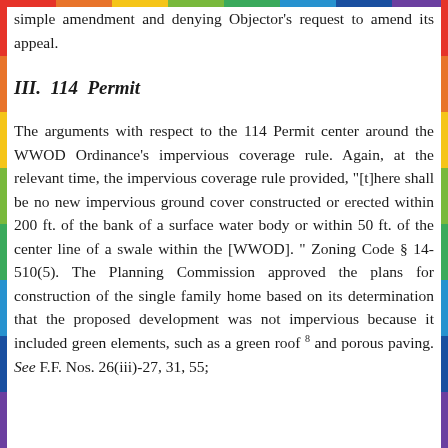simple amendment and denying Objector's request to amend its appeal.
III.  114  Permit
The arguments with respect to the 114 Permit center around the WWOD Ordinance's impervious coverage rule. Again, at the relevant time, the impervious coverage rule provided, "[t]here shall be no new impervious ground cover constructed or erected within 200 ft. of the bank of a surface water body or within 50 ft. of the center line of a swale within the [WWOD]." Zoning Code § 14-510(5). The Planning Commission approved the plans for construction of the single family home based on its determination that the proposed development was not impervious because it included green elements, such as a green roof 8 and porous paving. See F.F. Nos. 26(iii)-27, 31, 55;